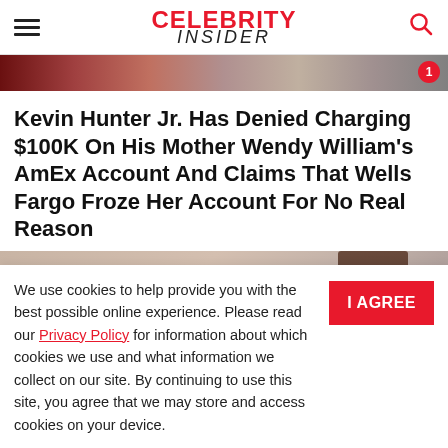CELEBRITY INSIDER
[Figure (photo): Top image strip showing people at an event, partially cropped, with a red notification badge showing '1']
Kevin Hunter Jr. Has Denied Charging $100K On His Mother Wendy William's AmEx Account And Claims That Wells Fargo Froze Her Account For No Real Reason
[Figure (photo): Partial photo of a person with dark hair in front of a sign with large letters, cropped at bottom]
We use cookies to help provide you with the best possible online experience. Please read our Privacy Policy for information about which cookies we use and what information we collect on our site. By continuing to use this site, you agree that we may store and access cookies on your device.